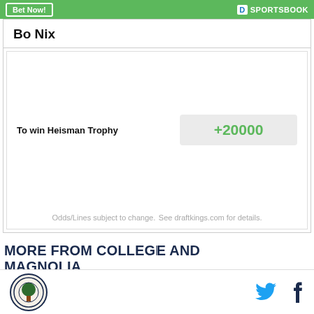[Figure (other): Green banner with 'Bet Now!' button and TD Sportsbook logo]
Bo Nix
| Bet | Odds |
| --- | --- |
| To win Heisman Trophy | +20000 |
Odds/Lines subject to change. See draftkings.com for details.
MORE FROM COLLEGE AND MAGNOLIA
[Figure (logo): College and Magnolia circular logo and social media icons (Twitter, Facebook)]